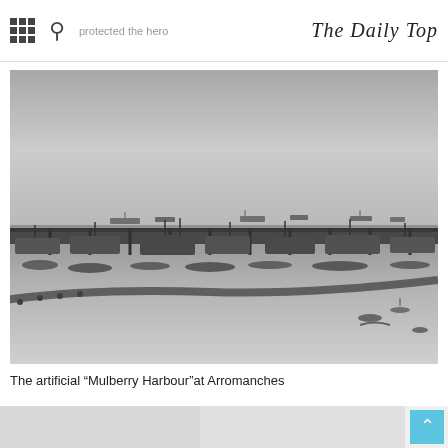The Daily Top
[Figure (photo): Black and white aerial photograph of the artificial Mulberry Harbour at Arromanches, showing floating piers, dock structures, ships along the horizon, and a curved breakwater in the foreground on calm water.]
The artificial “Mulberry Harbour”at Arromanches